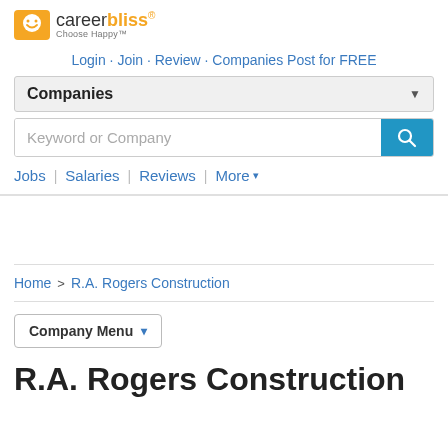[Figure (logo): CareerBliss logo with yellow smiley face icon and tagline 'Choose Happy']
Login · Join · Review · Companies Post for FREE
Companies (dropdown)
Keyword or Company (search bar)
Jobs | Salaries | Reviews | More
Home > R.A. Rogers Construction
Company Menu
R.A. Rogers Construction